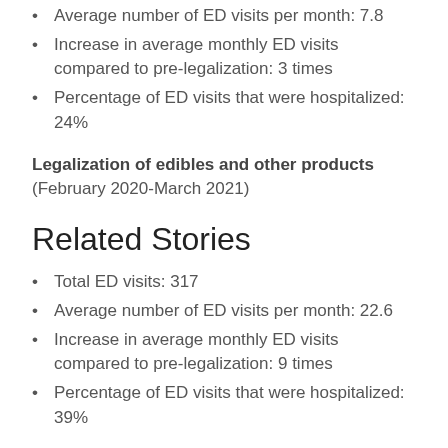Average number of ED visits per month: 7.8
Increase in average monthly ED visits compared to pre-legalization: 3 times
Percentage of ED visits that were hospitalized: 24%
Legalization of edibles and other products (February 2020-March 2021)
Related Stories
Total ED visits: 317
Average number of ED visits per month: 22.6
Increase in average monthly ED visits compared to pre-legalization: 9 times
Percentage of ED visits that were hospitalized: 39%
The researchers noted that cannabis legalization in Canada overlapped with the